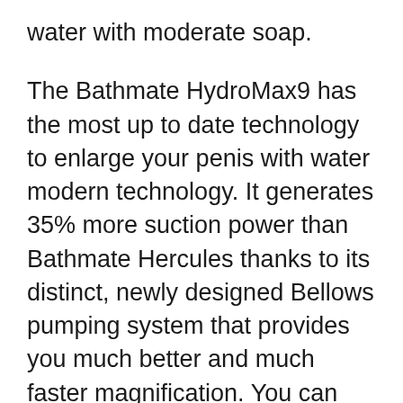water with moderate soap.
The Bathmate HydroMax9 has the most up to date technology to enlarge your penis with water modern technology. It generates 35% more suction power than Bathmate Hercules thanks to its distinct, newly designed Bellows pumping system that provides you much better and much faster magnification. You can review why water penis pumps are much better than air-based penis pumps right here.
Determining range offers you a far better review and the brand-new functional and grip-friendly surface area makes it easier to hold. The inner dimension has actually increased so you can achieve even more